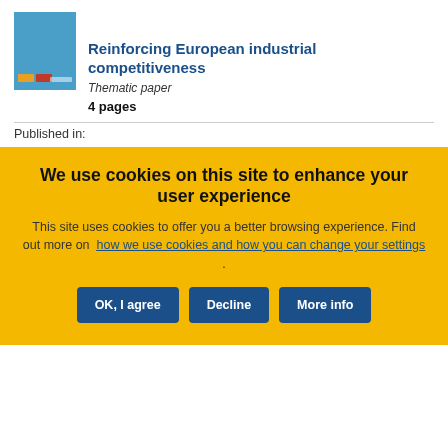[Figure (illustration): Blue book cover thumbnail representing the publication]
Reinforcing European industrial competitiveness
Thematic paper
4 pages
Published in:
We use cookies on this site to enhance your user experience
This site uses cookies to offer you a better browsing experience. Find out more on how we use cookies and how you can change your settings .